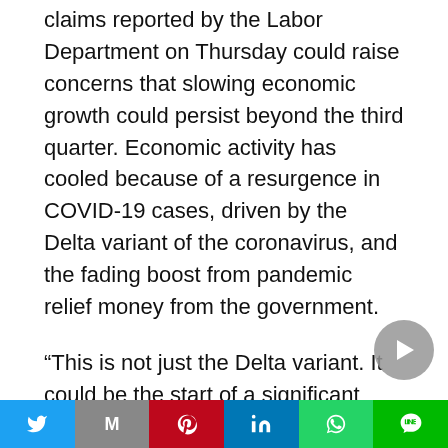claims reported by the Labor Department on Thursday could raise concerns that slowing economic growth could persist beyond the third quarter. Economic activity has cooled because of a resurgence in COVID-19 cases, driven by the Delta variant of the coronavirus, and the fading boost from pandemic relief money from the government.
“This is not just the Delta variant. It could be the start of a significant slowdown in economic growth, which would make it harder for those who lost their jobs in the pandemic to regain their positions or find new opportunities,” said Christopher Rupkey